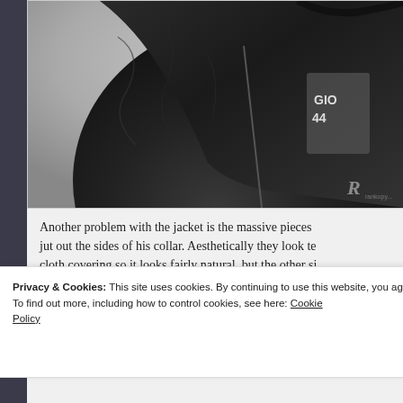[Figure (photo): Close-up photo of a person wearing a dark worn leather jacket with zipper, partially open showing a grey shirt with text 'GIO 44' underneath. The photo has a blurred light background. A watermark 'R' with additional text is visible in the lower right corner.]
Another problem with the jacket is the massive pieces jut out the sides of his collar. Aesthetically they look te cloth covering so it looks fairly natural, but the other si
Privacy & Cookies: This site uses cookies. By continuing to use this website, you agree to their use.
To find out more, including how to control cookies, see here: Cookie Policy
Close and accept